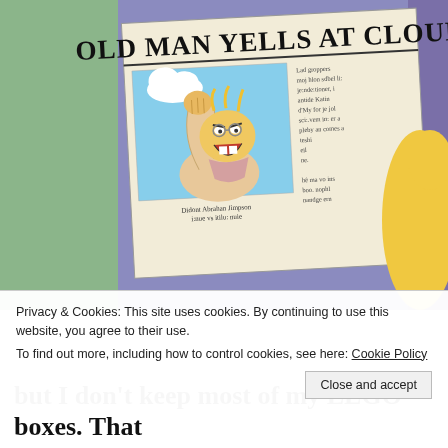[Figure (illustration): Screenshot of a Simpsons scene showing a cartoon character holding a newspaper with the headline 'OLD MAN YELLS AT CLOUD', with a cartoon drawing of Grandpa Simpson shaking his fist at a cloud. The newspaper has illegible body text beside the image.]
Privacy & Cookies: This site uses cookies. By continuing to use this website, you agree to their use.
To find out more, including how to control cookies, see here: Cookie Policy
Close and accept
but I don't keep most of my LEGO® boxes. That